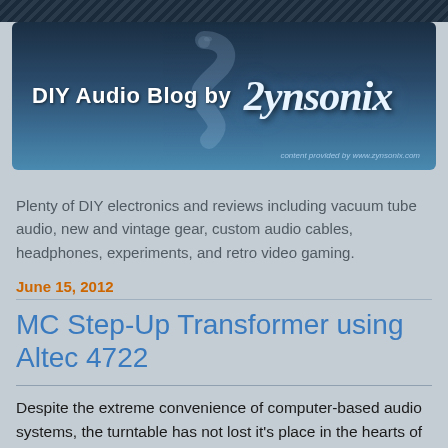[Figure (logo): DIY Audio Blog by Zynsonix banner with dark blue gradient background and snake/Z logo]
Plenty of DIY electronics and reviews including vacuum tube audio, new and vintage gear, custom audio cables, headphones, experiments, and retro video gaming.
June 15, 2012
MC Step-Up Transformer using Altec 4722
Despite the extreme convenience of computer-based audio systems, the turntable has not lost it's place in the hearts of many audiophiles. Sometimes that extra effort can be worth it, balancing the plinth, brushing the dust off the record, cleaning the stylus, flipping the record after a few songs, the list goes on. There's just something nice about that analog...